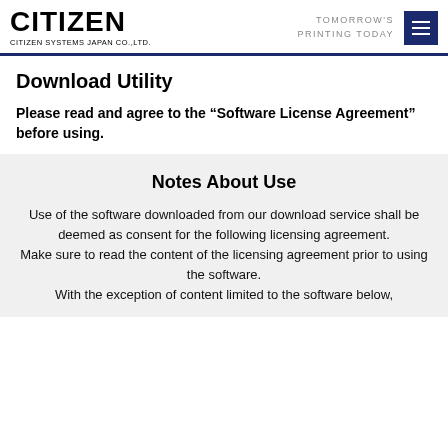CITIZEN SYSTEMS JAPAN CO.,LTD. | TOMORROW'S PRINTING TODAY
Download Utility
Please read and agree to the “Software License Agreement” before using.
Notes About Use
Use of the software downloaded from our download service shall be deemed as consent for the following licensing agreement.
Make sure to read the content of the licensing agreement prior to using the software.
With the exception of content limited to the software below,